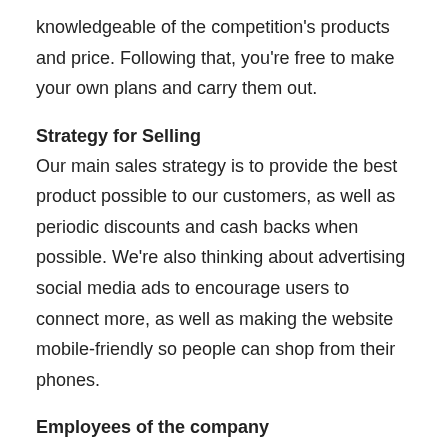knowledgeable of the competition's products and price. Following that, you're free to make your own plans and carry them out.
Strategy for Selling
Our main sales strategy is to provide the best product possible to our customers, as well as periodic discounts and cash backs when possible. We're also thinking about advertising social media ads to encourage users to connect more, as well as making the website mobile-friendly so people can shop from their phones.
Employees of the company
Our digital team, as well as our personnel, is